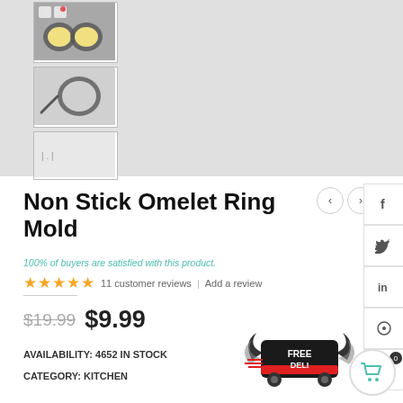[Figure (photo): Product thumbnail: two egg omelet rings on gray silicone mat with red heart decoration and coffee cups in background]
[Figure (photo): Product thumbnail: single round non-stick omelet ring mold with handle on white background]
[Figure (photo): Product thumbnail: partial view of omelet ring mold packaging or product]
Non Stick Omelet Ring Mold
100% of buyers are satisfied with this product.
11 customer reviews | Add a review
$19.99  $9.99
AVAILABILITY: 4652 IN STOCK
CATEGORY: KITCHEN
[Figure (infographic): FREE DELIVERY badge with winged delivery truck graphic in black and red]